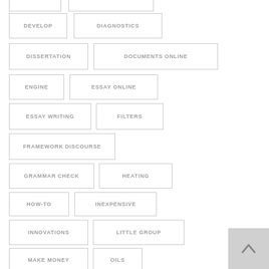DEVELOP
DIAGNOSTICS
DISSERTATION
DOCUMENTS ONLINE
ENGINE
ESSAY ONLINE
ESSAY WRITING
FILTERS
FRAMEWORK DISCOURSE
GRAMMAR CHECK
HEATING
HOW-TO
INEXPENSIVE
INNOVATIONS
LITTLE GROUP
MAKE MONEY
OILS
PERSON COMPOSE
PROBLEM